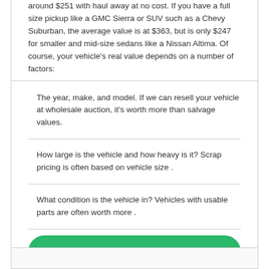around $251 with haul away at no cost. If you have a full size pickup like a GMC Sierra or SUV such as a Chevy Suburban, the average value is at $363, but is only $247 for smaller and mid-size sedans like a Nissan Altima. Of course, your vehicle's real value depends on a number of factors:
The year, make, and model. If we can resell your vehicle at wholesale auction, it's worth more than salvage values.
How large is the vehicle and how heavy is it? Scrap pricing is often based on vehicle size .
What condition is the vehicle in? Vehicles with usable parts are often worth more .
Get an Offer Now!